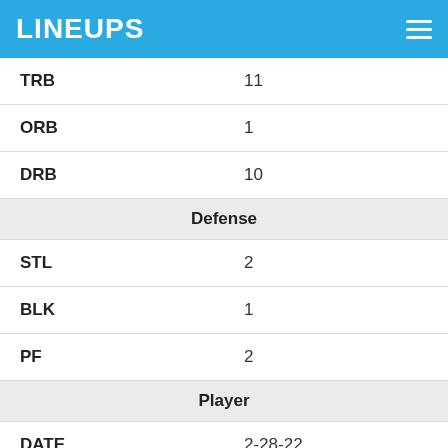LINEUPS
| TRB | 11 |
| ORB | 1 |
| DRB | 10 |
| Defense |  |
| STL | 2 |
| BLK | 1 |
| PF | 2 |
| Player |  |
| DATE | 2-28-22 |
| OPP | vs MIN |
| SCORE | L 122-127 |
| MINS | 33 |